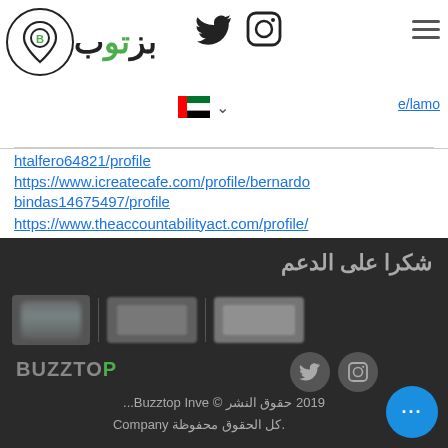Buzztop logo with Arabic text, Twitter icon, Instagram icon, hamburger menu, UAE flag, e/lamo link
htalfero64821/profile
https://www.icreatecafe.com/profile/bernardobindas14675497/profile
https://www.theaccountabilityact.com/profile/wmsiegel9667822/profile
https://www.jadechocolates.com/profile/michealchristensen3263166/profile
[Figure (screenshot): Dark footer section with Arabic text 'شكرا على الدعم' (Thank you for support), sponsor logos (blurred UAE flag shape, blurred ad boxes), Buzztop branding, Twitter and Instagram social icons, copyright text '© Buzztop Inve... 2019 حقوق النشر' and '.كل الحقوق محفوظة Company', and a blue chat button with '...']
© Buzztop Inve... 2019 حقوق النشر
.كل الحقوق محفوظة Company